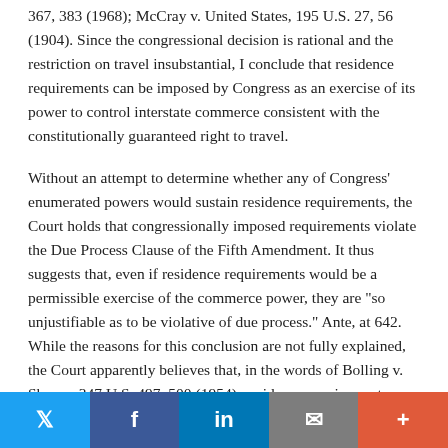367, 383 (1968); McCray v. United States, 195 U.S. 27, 56 (1904). Since the congressional decision is rational and the restriction on travel insubstantial, I conclude that residence requirements can be imposed by Congress as an exercise of its power to control interstate commerce consistent with the constitutionally guaranteed right to travel.
Without an attempt to determine whether any of Congress' enumerated powers would sustain residence requirements, the Court holds that congressionally imposed requirements violate the Due Process Clause of the Fifth Amendment. It thus suggests that, even if residence requirements would be a permissible exercise of the commerce power, they are "so unjustifiable as to be violative of due process." Ante, at 642. While the reasons for this conclusion are not fully explained, the Court apparently believes that, in the words of Bolling v. Sharpe, 347 U.S. 497, 500 (1954), residence requirements
[Figure (other): Social sharing bar with Twitter, Facebook, LinkedIn, Email, and More buttons]